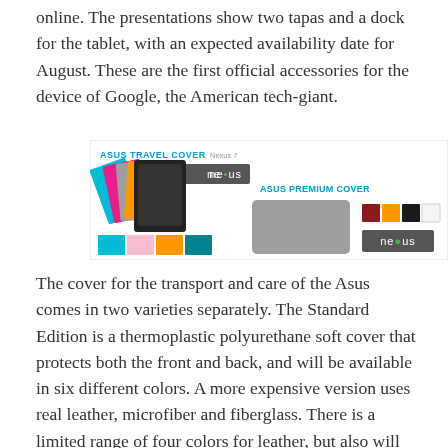online. The presentations show two tapas and a dock for the tablet, with an expected availability date for August. These are the first official accessories for the device of Google, the American tech-giant.
[Figure (photo): Product image showing ASUS Travel Cover for Nexus 7 tablets in multiple colors (cyan, pink, gray, orange, black) fanned out, color swatches, and ASUS Premium Cover in gray with four color swatches (dark red, orange, black, white) and Nexus logo.]
The cover for the transport and care of the Asus comes in two varieties separately. The Standard Edition is a thermoplastic polyurethane soft cover that protects both the front and back, and will be available in six different colors. A more expensive version uses real leather, microfiber and fiberglass. There is a limited range of four colors for leather, but also will weigh 93 grams ounces instead of 140 grams of the standard version.